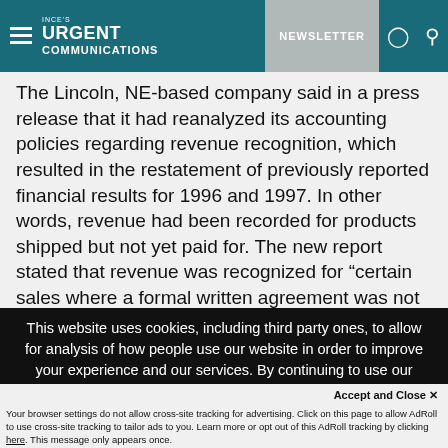INCE's URGENT COMMUNICATIONS | NEWSLETTER
The Lincoln, NE-based company said in a press release that it had reanalyzed its accounting policies regarding revenue recognition, which resulted in the restatement of previously reported financial results for 1996 and 1997. In other words, revenue had been recorded for products shipped but not yet paid for. The new report stated that revenue was recognized for “certain sales where a formal written agreement was not received”
This website uses cookies, including third party ones, to allow for analysis of how people use our website in order to improve your experience and our services. By continuing to use our website, you agree to the use of such cookies. Click here for more information on our Cookie Policy and Privacy Policy
Accept and Close ×
Your browser settings do not allow cross-site tracking for advertising. Click on this page to allow AdRoll to use cross-site tracking to tailor ads to you. Learn more or opt out of this AdRoll tracking by clicking here. This message only appears once.